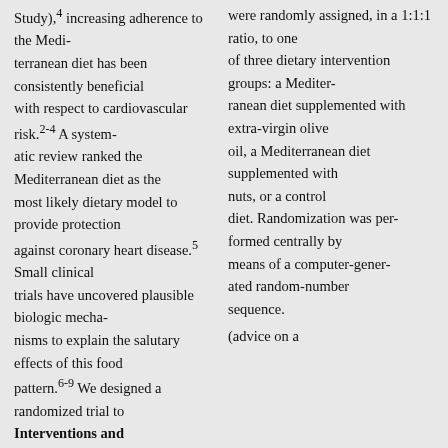Study),4 increasing adherence to the Medi- terranean diet has been consistently beneficial with respect to cardiovascular risk.2-4 A system- atic review ranked the Mediterranean diet as the most likely dietary model to provide protection against coronary heart disease.5 Small clinical trials have uncovered plausible biologic mecha- nisms to explain the salutary effects of this food pattern.6-9 We designed a randomized trial to test the efficacy of two Mediterranean diets (one supplemented with extra-virgin olive oil and an- other with nuts), as compared with a control diet
were randomly assigned, in a 1:1:1 ratio, to one of three dietary intervention groups: a Mediter- ranean diet supplemented with extra-virgin olive oil, a Mediterranean diet supplemented with nuts, or a control diet. Randomization was per- formed centrally by means of a computer-gener- ated random-number sequence.
Interventions and Measurements
The dietary intervention8,10-13 is detailed in the Supplementary Appendix. The specific recom- mended diets are summarized in Table 1. Par- (advice on a